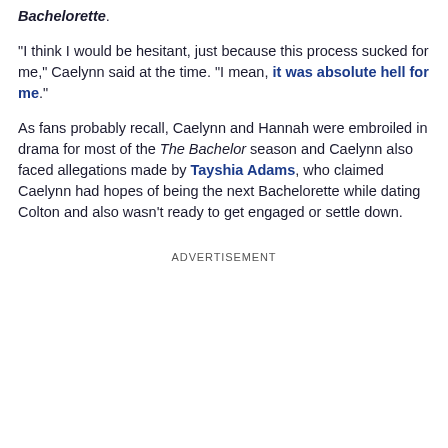Bachelorette.
"I think I would be hesitant, just because this process sucked for me," Caelynn said at the time. "I mean, it was absolute hell for me."
As fans probably recall, Caelynn and Hannah were embroiled in drama for most of the The Bachelor season and Caelynn also faced allegations made by Tayshia Adams, who claimed Caelynn had hopes of being the next Bachelorette while dating Colton and also wasn't ready to get engaged or settle down.
ADVERTISEMENT